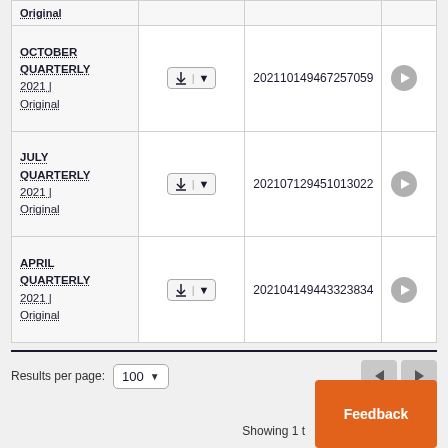| Period | Download | File ID | Play |
| --- | --- | --- | --- |
| OCTOBER
QUARTERLY
2021 | Original | [download] | 202110149467257059 | [play] |
| JULY
QUARTERLY
2021 | Original | [download] | 202107129451013022 | [play] |
| APRIL
QUARTERLY
2021 | Original | [download] | 202104149443323834 | [play] |
Results per page: 100
Showing 1 t...
Feedback